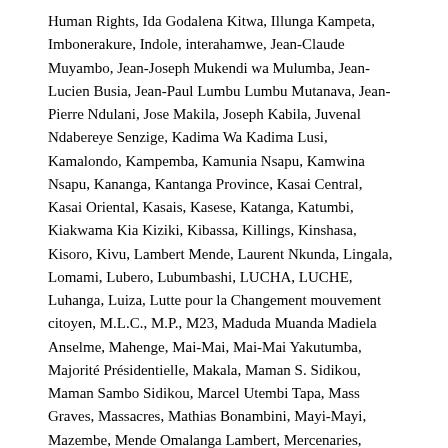Human Rights, Ida Godalena Kitwa, Illunga Kampeta, Imbonerakure, Indole, interahamwe, Jean-Claude Muyambo, Jean-Joseph Mukendi wa Mulumba, Jean-Lucien Busia, Jean-Paul Lumbu Lumbu Mutanava, Jean-Pierre Ndulani, Jose Makila, Joseph Kabila, Juvenal Ndabereye Senzige, Kadima Wa Kadima Lusi, Kamalondo, Kampemba, Kamunia Nsapu, Kamwina Nsapu, Kananga, Kantanga Province, Kasai Central, Kasai Oriental, Kasais, Kasese, Katanga, Katumbi, Kiakwama Kia Kiziki, Kibassa, Killings, Kinshasa, Kisoro, Kivu, Lambert Mende, Laurent Nkunda, Lingala, Lomami, Lubero, Lubumbashi, LUCHA, LUCHE, Luhanga, Luiza, Lutte pour la Changement mouvement citoyen, M.L.C., M.P., M23, Maduda Muanda Madiela Anselme, Mahenge, Mai-Mai, Mai-Mai Yakutumba, Majorité Présidentielle, Makala, Maman S. Sidikou, Maman Sambo Sidikou, Marcel Utembi Tapa, Mass Graves, Massacres, Mathias Bonambini, Mayi-Mayi, Mazembe, Mende Omalanga Lambert, Mercenaries, Militants, Military Vehicles, Militia, Ministre de l'Interieur et Securite, MISSION DE L'ORGANISATION DES NATIONS UNIES POUR LA STABILISATION EN RD CONGO, MLC, Moïse Kasumba...